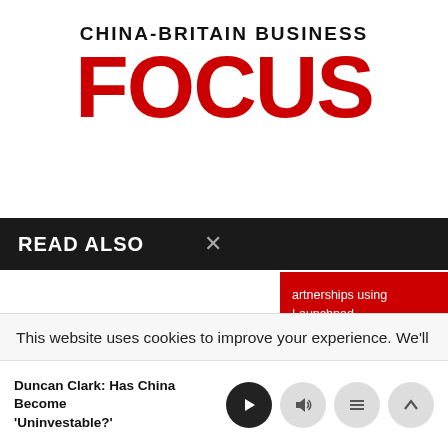[Figure (logo): China-Britain Business Focus magazine logo. Top line reads CHINA-BRITAIN BUSINESS in black serif/sans uppercase, below in large red bold text: FOCUS]
READ ALSO ×
artnerships using Launchpad – es to enter the China market.
> Find out more
cess challenges and
This website uses cookies to improve your experience. We'll
Duncan Clark: Has China Become 'Uninvestable?'